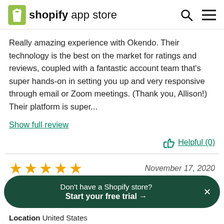shopify app store
Really amazing experience with Okendo. Their technology is the best on the market for ratings and reviews, coupled with a fantastic account team that's super hands-on in setting you up and very responsive through email or Zoom meetings. (Thank you, Allison!) Their platform is super...
Show full review
Helpful (0)
★★★★★   November 17, 2020
Don't have a Shopify store? Start your free trial →
Location   United States